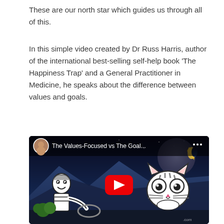These are our north star which guides us through all of this.
In this simple video created by Dr Russ Harris, author of the international best-selling self-help book ‘The Happiness Trap’ and a General Practitioner in Medicine, he speaks about the difference between values and goals.
[Figure (screenshot): YouTube video thumbnail showing 'The Values-Focused vs The Goal...' with a night sky background, animated cartoon characters (a person driving and a cat), and a YouTube play button in the center.]